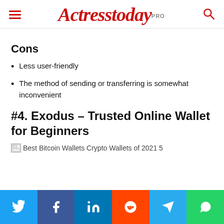Actresstoday PRO
Cons
Less user-friendly
The method of sending or transferring is somewhat inconvenient
#4. Exodus – Trusted Online Wallet for Beginners
[Figure (other): Broken image placeholder with alt text: Best Bitcoin Wallets Crypto Wallets of 2021 5]